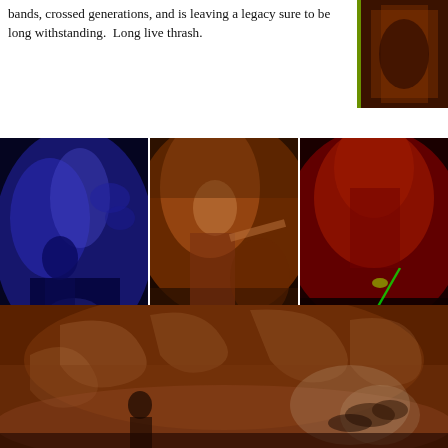bands, crossed generations, and is leaving a legacy sure to be long withstanding.  Long live thrash.
[Figure (photo): Concert photo on right side, partially visible, dark warm tones]
[Figure (photo): Testament concert photo with blue lighting, performer on stage]
Testament
[Figure (photo): Testament concert photo with orange/warm lighting, singer pointing]
Testament
[Figure (photo): Testament concert photo with red lighting and green laser, stage band]
Testament
[Figure (photo): Large concert photo showing band on stage with large decorative backdrop, misty atmosphere, warm brown tones]